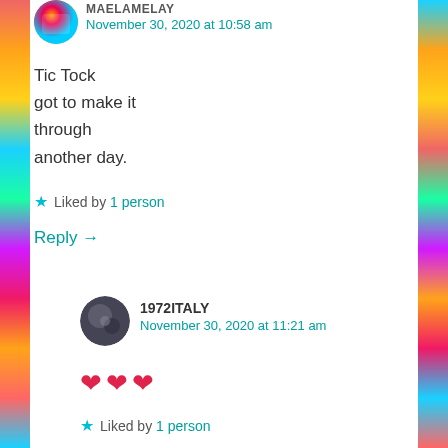[Figure (photo): Small circular avatar image with colorful pattern, top-left of first comment]
November 30, 2020 at 10:58 am
Tic Tock
got to make it
through
another day.
Liked by 1 person
Reply →
[Figure (photo): Small circular avatar image with dark blueish tones, for 1972ITALY comment]
1972ITALY
November 30, 2020 at 11:21 am
❤❤❤
Liked by 1 person